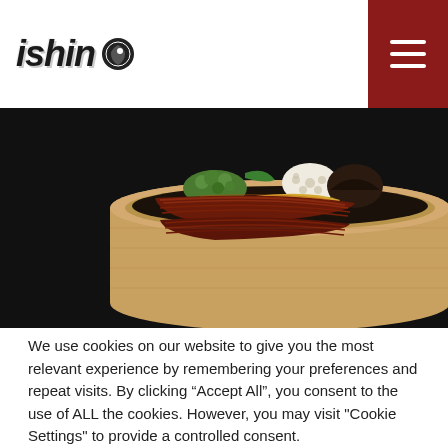ishin (logo with icon)
[Figure (photo): Japanese food in a wooden steamer basket on a black background, featuring glazed eel (unagi), yellow egg, lotus root, green vegetables, and black mushroom.]
We use cookies on our website to give you the most relevant experience by remembering your preferences and repeat visits. By clicking “Accept All”, you consent to the use of ALL the cookies. However, you may visit "Cookie Settings" to provide a controlled consent.
Cookie Settings | Accept All